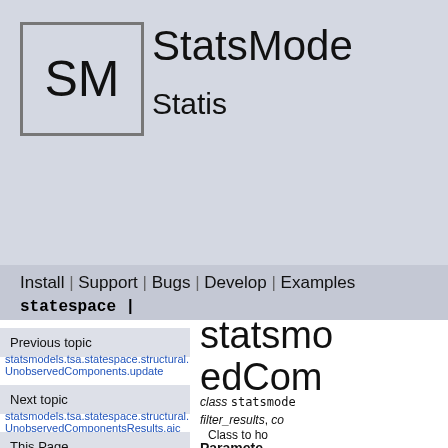[Figure (logo): StatsModels logo: SM in a hand-drawn box, with 'StatsModels Statistics' text to the right]
Install | Support | Bugs | Develop | Examples | statespace |
Previous topic
statsmodels.tsa.statespace.structural.UnobservedComponents.update
Next topic
statsmodels.tsa.statespace.structural.UnobservedComponentsResults.aic
This Page
statsmodels... edCom...
class statsmode... filter_results, co Class to ho
Parameters